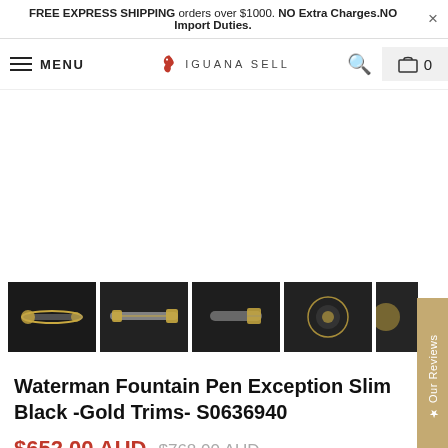FREE EXPRESS SHIPPING orders over $1000. NO Extra Charges.NO Import Duties.
[Figure (screenshot): Iguana Sell e-commerce navigation bar with hamburger menu, MENU text, Iguana Sell logo, search icon, and cart icon with 0]
[Figure (photo): Four product thumbnail images of Waterman Fountain Pen Exception Slim Black Gold Trims showing different angles of the pen, plus a partially visible fifth image. Side tab showing star and 'Our Reviews' text.]
Waterman Fountain Pen Exception Slim Black -Gold Trims- S0636940
$652.00 AUD $768.00 AUD
You save 15% ( $116.00 AUD )
20 AUD off. Enter  Rewards  checkout: